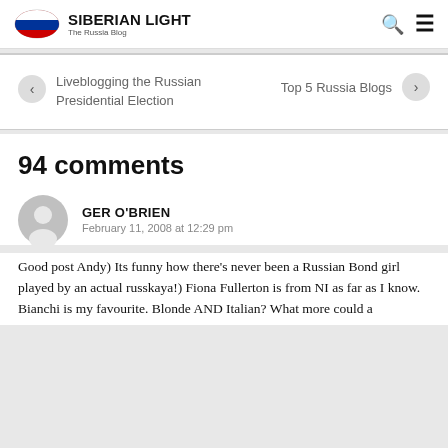SIBERIAN LIGHT — The Russia Blog
Liveblogging the Russian Presidential Election
Top 5 Russia Blogs
94 comments
GER O'BRIEN
February 11, 2008 at 12:29 pm
Good post Andy) Its funny how there's never been a Russian Bond girl played by an actual russkaya!) Fiona Fullerton is from NI as far as I know. Bianchi is my favourite. Blonde AND Italian? What more could a